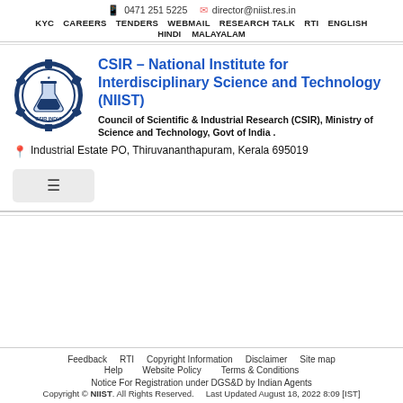📱 0471 251 5225  ✉ director@niist.res.in  KYC  CAREERS  TENDERS  WEBMAIL  RESEARCH TALK  RTI  ENGLISH  HINDI  MALAYALAM
[Figure (logo): CSIR NIIST circular logo with gear/cog border, central flask/beaker motif, and text 'CSIR INDIA']
CSIR – National Institute for Interdisciplinary Science and Technology (NIIST)
Council of Scientific & Industrial Research (CSIR), Ministry of Science and Technology, Govt of India .
📍 Industrial Estate PO, Thiruvananthapuram, Kerala 695019
Feedback  RTI  Copyright Information  Disclaimer  Site map  Help  Website Policy  Terms & Conditions  Notice For Registration under DGS&D by Indian Agents  Copyright © NIIST. All Rights Reserved.  Last Updated August 18, 2022 8:09 [IST]